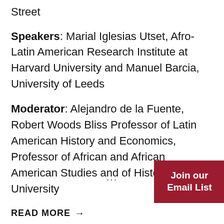Street
Speakers: Marial Iglesias Utset, Afro-Latin American Research Institute at Harvard University and Manuel Barcia, University of Leeds
Moderator: Alejandro de la Fuente, Robert Woods Bliss Professor of Latin American History and Economics, Professor of African and African American Studies and of History, Harvard University
...
Join our Email List
READ MORE →